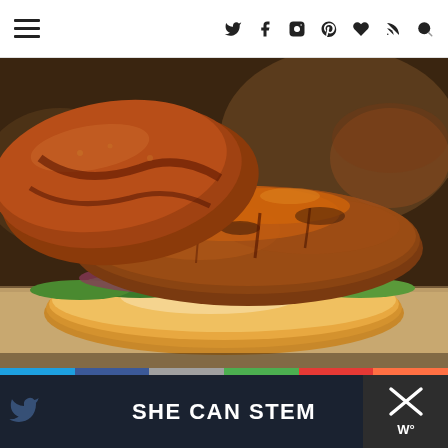Navigation bar with hamburger menu and social icons: Twitter, Facebook, Instagram, Pinterest, Heart, RSS, Search
[Figure (photo): Close-up photograph of a BBQ glazed burger/sandwich on a pretzel bun with arugula and red onion, glistening with dark barbecue sauce, on a wooden board. A second burger is blurred in the background.]
SHE CAN STEM